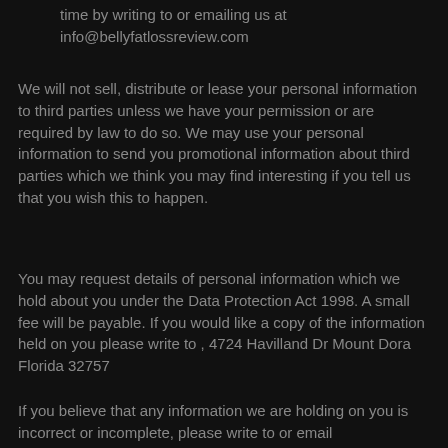time by writing to or emailing us at info@bellyfatlossreview.com
We will not sell, distribute or lease your personal information to third parties unless we have your permission or are required by law to do so. We may use your personal information to send you promotional information about third parties which we think you may find interesting if you tell us that you wish this to happen.
You may request details of personal information which we hold about you under the Data Protection Act 1998. A small fee will be payable. If you would like a copy of the information held on you please write to , 4724 Havilland Dr Mount Dora Florida 32757
If you believe that any information we are holding on you is incorrect or incomplete, please write to or email